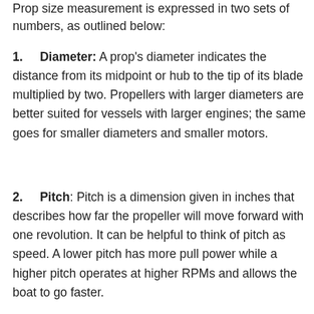Prop size measurement is expressed in two sets of numbers, as outlined below:
1. Diameter: A prop's diameter indicates the distance from its midpoint or hub to the tip of its blade multiplied by two. Propellers with larger diameters are better suited for vessels with larger engines; the same goes for smaller diameters and smaller motors.
2. Pitch: Pitch is a dimension given in inches that describes how far the propeller will move forward with one revolution. It can be helpful to think of pitch as speed. A lower pitch has more pull power while a higher pitch operates at higher RPMs and allows the boat to go faster.